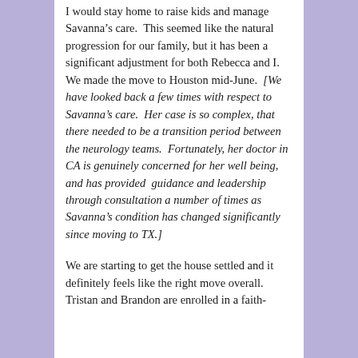I would stay home to raise kids and manage Savanna's care.  This seemed like the natural progression for our family, but it has been a significant adjustment for both Rebecca and I. We made the move to Houston mid-June.  [We have looked back a few times with respect to Savanna's care.  Her case is so complex, that there needed to be a transition period between the neurology teams.  Fortunately, her doctor in CA is genuinely concerned for her well being, and has provided  guidance and leadership through consultation a number of times as Savanna's condition has changed significantly since moving to TX.]
We are starting to get the house settled and it definitely feels like the right move overall. Tristan and Brandon are enrolled in a faith-